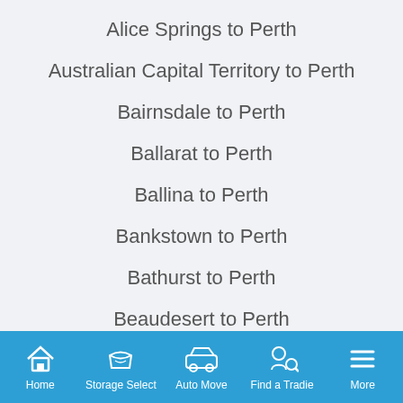Alice Springs to Perth
Australian Capital Territory to Perth
Bairnsdale to Perth
Ballarat to Perth
Ballina to Perth
Bankstown to Perth
Bathurst to Perth
Beaudesert to Perth
Benalla to Perth
Bendigo to Perth
Blacktown to Perth
Home | Storage Select | Auto Move | Find a Tradie | More